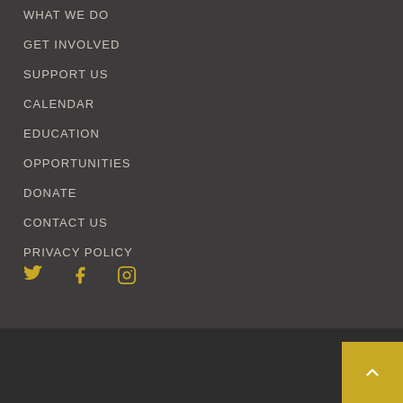WHAT WE DO
GET INVOLVED
SUPPORT US
CALENDAR
EDUCATION
OPPORTUNITIES
DONATE
CONTACT US
PRIVACY POLICY
[Figure (other): Social media icons for Twitter, Facebook, and Instagram in gold/yellow color]
Friends of the Los Angeles River (FoLAR) is a nonprofit and tax-exempt charitable organization (tax